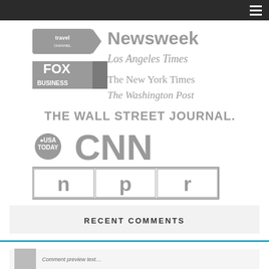Navigation header bar with hamburger menu
[Figure (logo): Collage of media outlet logos in gray: Travel Channel, Newsweek, Los Angeles Times, Fox Business, The New York Times, The Washington Post, The Wall Street Journal, USA Today, CNN, NPR]
RECENT COMMENTS
[Figure (other): Comment snippet preview at bottom of page]